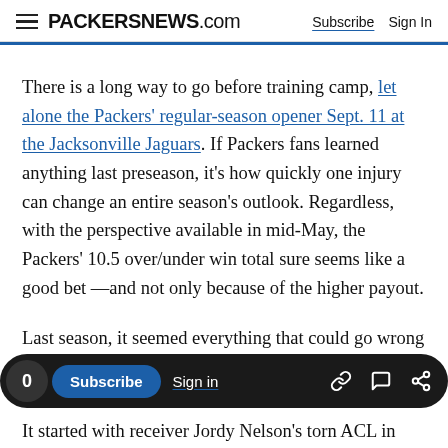PACKERSNEWS.com  Subscribe  Sign In
There is a long way to go before training camp, let alone the Packers' regular-season opener Sept. 11 at the Jacksonville Jaguars. If Packers fans learned anything last preseason, it's how quickly one injury can change an entire season's outlook. Regardless, with the perspective available in mid-May, the Packers' 10.5 over/under win total sure seems like a good bet —and not only because of the higher payout.
Last season, it seemed everything that could go wrong eventually did.
It started with receiver Jordy Nelson's torn ACL in